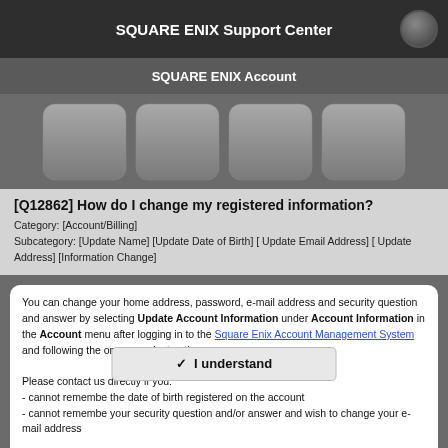SQUARE ENIX Support Center
SQUARE ENIX Account
[Figure (other): Four rounded square navigation buttons in a row]
[Q12862] How do I change my registered information?
Category: [Account/Billing]
Subcategory: [Update Name] [Update Date of Birth] [ Update Email Address] [ Update Address] [Information Change]
You can change your home address, password, e-mail address and security question and answer by selecting Update Account Information under Account Information in the Account menu after logging in to the Square Enix Account Management System and following the on-screen instructions.

Please contact us directly if you:
- cannot remember the date of birth registered on the account
- cannot remember your security question and/or answer and wish to change your e-mail address

Changing...
You probably won't be surprised to hear that we've updated our Privacy Notice. Please do take the time to read our new, more informative, easier to read and easier to understand, Privacy Notice.
of birth incorrectly or your name has changed due to marriage, gender change, adoption, etc.
✓ I understand
We use cookies on our websites. You are free to manage this via your browser setting at any time. To learn more about how we use the cookies, please see our cookies policy.
You probably won't be surprised to hear that we've updated our Privacy Notice. Please do take the time to read our new, more informative, easier to read and easier to understand, Privacy Notice.